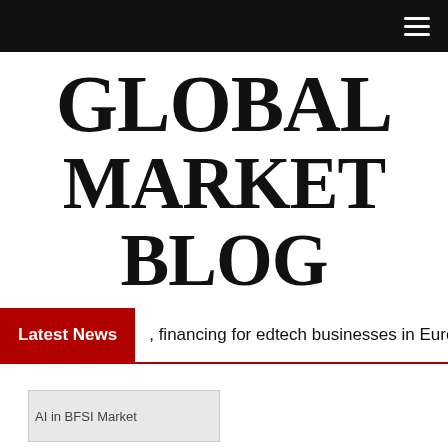Navigation bar with hamburger menu
GLOBAL MARKET BLOG
Latest News, financing for edtech businesses in Euro
[Figure (other): Placeholder image labeled 'AI in BFSI Market']